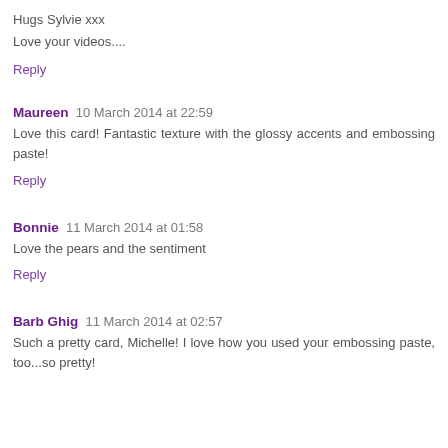Hugs Sylvie xxx
Love your videos....
Reply
Maureen  10 March 2014 at 22:59
Love this card! Fantastic texture with the glossy accents and embossing paste!
Reply
Bonnie  11 March 2014 at 01:58
Love the pears and the sentiment
Reply
Barb Ghig  11 March 2014 at 02:57
Such a pretty card, Michelle! I love how you used your embossing paste, too...so pretty!